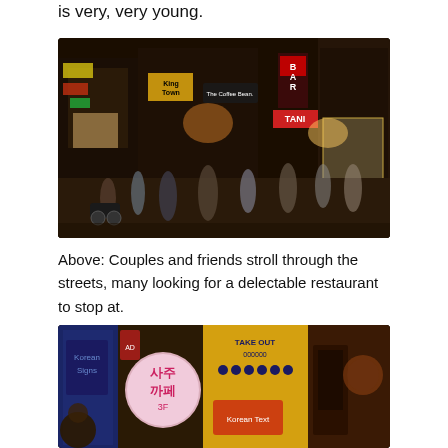is very, very young.
[Figure (photo): Busy night street scene in a Korean entertainment district, with neon signs including The Coffee Bean, BAR, TANI, and King Town. Blurred pedestrians walk along the street.]
Above: Couples and friends stroll through the streets, many looking for a delectable restaurant to stop at.
[Figure (photo): Street scene at night in Korea showing Korean signage including a pink circular sign with Korean text (사주까페), a yellow sign with TAKE OUT and phone number, and other storefronts.]